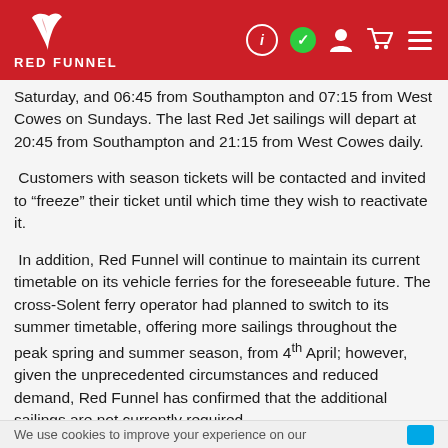Red Funnel
Saturday, and 06:45 from Southampton and 07:15 from West Cowes on Sundays. The last Red Jet sailings will depart at 20:45 from Southampton and 21:15 from West Cowes daily.
Customers with season tickets will be contacted and invited to “freeze” their ticket until which time they wish to reactivate it.
In addition, Red Funnel will continue to maintain its current timetable on its vehicle ferries for the foreseeable future. The cross-Solent ferry operator had planned to switch to its summer timetable, offering more sailings throughout the peak spring and summer season, from 4th April; however, given the unprecedented circumstances and reduced demand, Red Funnel has confirmed that the additional sailings are not currently required.
These changes, which will remain in effect until further notice, are being put in place to ensure Red Funnel’s service is reliable and resilient in maintaining the lifeline link to and from the
We use cookies to improve your experience on our...